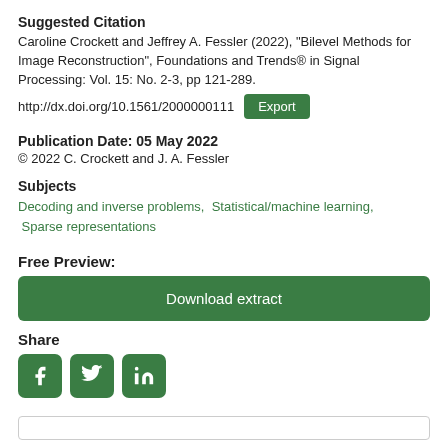Suggested Citation
Caroline Crockett and Jeffrey A. Fessler (2022), "Bilevel Methods for Image Reconstruction", Foundations and Trends® in Signal Processing: Vol. 15: No. 2-3, pp 121-289.
http://dx.doi.org/10.1561/2000000111
Publication Date: 05 May 2022
© 2022 C. Crockett and J. A. Fessler
Subjects
Decoding and inverse problems,  Statistical/machine learning,  Sparse representations
Free Preview:
Download extract
Share